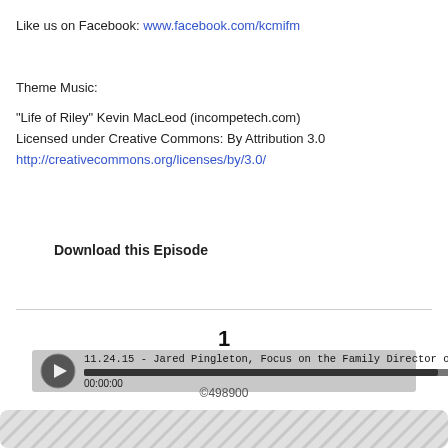Like us on Facebook: www.facebook.com/kcmifm
Theme Music:
"Life of Riley" Kevin MacLeod (incompetech.com)
Licensed under Creative Commons: By Attribution 3.0
http://creativecommons.org/licenses/by/3.0/
[Figure (other): Audio player widget showing episode '11.24.15 - Jared Pingleton, Focus on the Family Director o...' with progress bar at 00:00:00 and libsyn branding]
Download this Episode
1
©498900